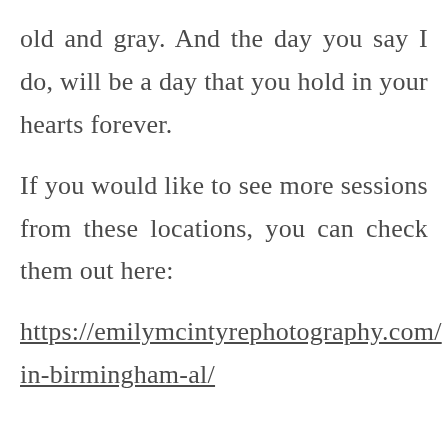old and gray. And the day you say I do, will be a day that you hold in your hearts forever.

If you would like to see more sessions from these locations, you can check them out here:

https://emilymcintyrephotography.com/in-birmingham-al/